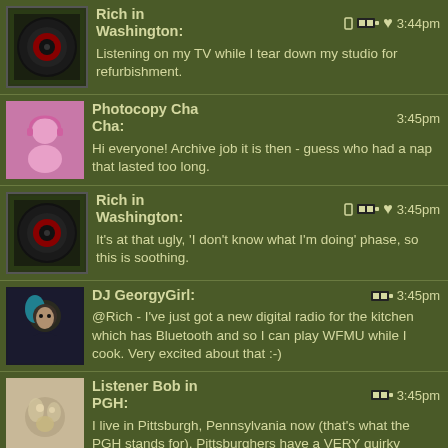Rich in Washington: Listening on my TV while I tear down my studio for refurbishment. 3:44pm
Photocopy Cha Cha: Hi everyone! Archive job it is then - guess who had a nap that lasted too long. 3:45pm
Rich in Washington: It's at that ugly, 'I don't know what I'm doing' phase, so this is soothing. 3:45pm
DJ GeorgyGirl: @Rich - I've just got a new digital radio for the kitchen which has Bluetooth and so I can play WFMU while I cook. Very excited about that :-) 3:45pm
Listener Bob in PGH: I live in Pittsburgh, Pennsylvania now (that's what the PGH stands for). Pittsburghers have a VERY quirky accent and way of speaking and I fear I'm picking that up in addition to my native accent and idiosyncratic issues! 3:45pm